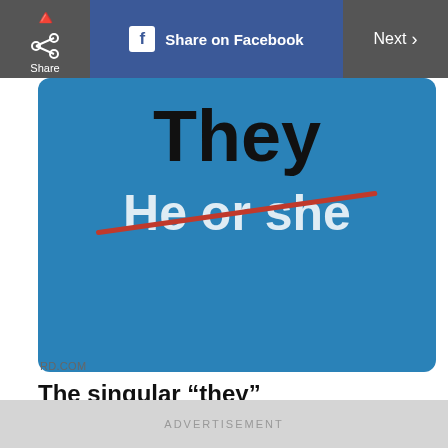Share  |  Share on Facebook  |  Next >
[Figure (illustration): Blue background graphic showing 'They' in large dark text above 'He or she' in white text with a red diagonal strikethrough line crossing it out]
RD.COM
The singular “they”
One of the biggest and most progressive changes in grammar involves the use of the singular